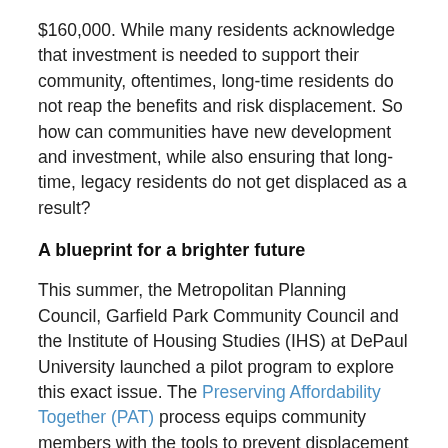$160,000. While many residents acknowledge that investment is needed to support their community, oftentimes, long-time residents do not reap the benefits and risk displacement. So how can communities have new development and investment, while also ensuring that long-time, legacy residents do not get displaced as a result?
A blueprint for a brighter future
This summer, the Metropolitan Planning Council, Garfield Park Community Council and the Institute of Housing Studies (IHS) at DePaul University launched a pilot program to explore this exact issue. The Preserving Affordability Together (PAT) process equips community members with the tools to prevent displacement and ensure that existing residents benefit from new investment.